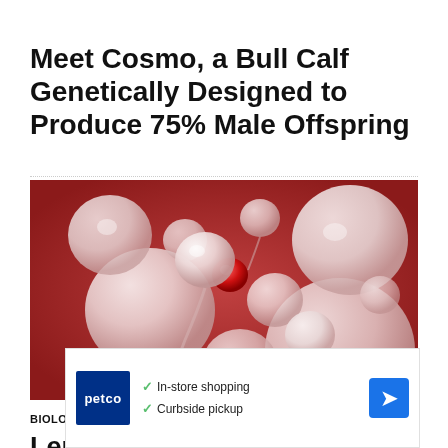Meet Cosmo, a Bull Calf Genetically Designed to Produce 75% Male Offspring
[Figure (illustration): 3D rendered illustration of sperm cells, showing round-headed and normal sperm cells in pink/white tones against a reddish background]
BIOLOGY
Lens-Free System Shows Spiraling Swimming Pattern of Human Sperm
[Figure (other): Petco advertisement showing in-store shopping and curbside pickup options with navigation icon]